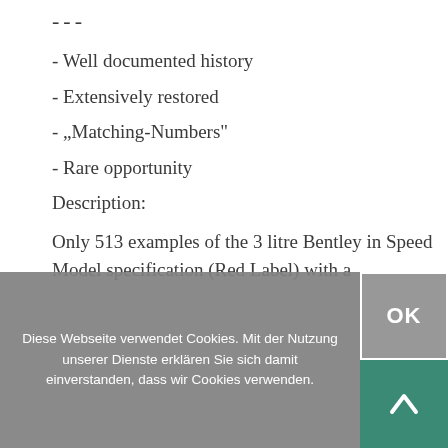---
- Well documented history
- Extensively restored
- „Matching-Numbers“
- Rare opportunity
Description:
Only 513 examples of the 3 litre Bentley in Speed Model specification (Red Label) with a
Diese Webseite verwendet Cookies. Mit der Nutzung unserer Dienste erklären Sie sich damit einverstanden, dass wir Cookies verwenden.
OK